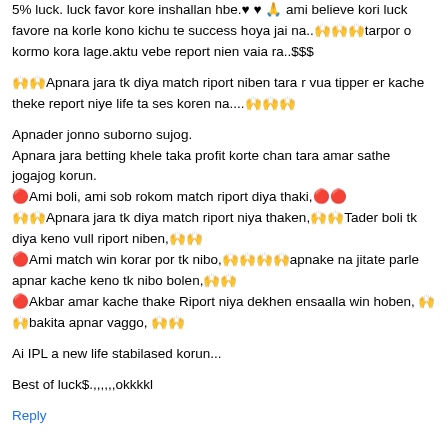5% luck. luck favor kore inshallan hbe.♥ ♥ 🙏 ami believe kori luck favore na korle kono kichu te success hoya jai na..🙌🙌🙌tarpor o kormo kora lage.aktu vebe report nien vaia ra..$$$
🙌🙌Apnara jara tk diya match riport niben tara r vua tipper er kache theke report niye life ta ses koren na....🙌🙌🙌
Apnader jonno suborno sujog.
Apnara jara betting khele taka profit korte chan tara amar sathe jogajog korun.
🔴Ami boli, ami sob rokom match riport diya thaki,🔴🔴
🙌🙌Apnara jara tk diya match riport niya thaken,🙌🙌Tader boli tk diya keno vull riport niben,🙌🙌
🔴Ami match win korar por tk nibo,🙌🙌🙌🙌apnake na jitate parle apnar kache keno tk nibo bolen,🙌🙌
🔴Akbar amar kache thake Riport niya dekhen ensaalla win hoben, 🙌🙌bakita apnar vaggo, 🙌🙌
Ai IPL a new life stabilased korun...
Best of luck$.,,,,,,okkkkl
Reply